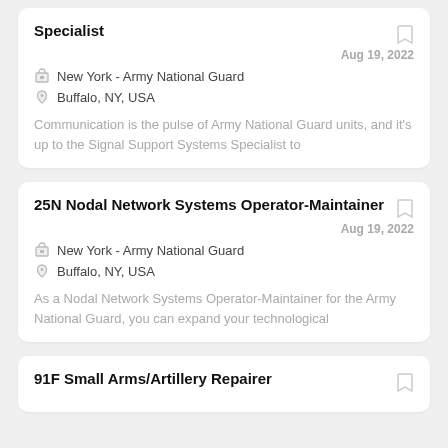Specialist
Aug 19, 2022
New York - Army National Guard
Buffalo, NY, USA
Communication is the pulse of Army National Guard units, and it's up to the Signal Support Systems Specialist to
25N Nodal Network Systems Operator-Maintainer
Aug 19, 2022
New York - Army National Guard
Buffalo, NY, USA
As a Nodal Network Systems Operator-Maintainer for the Army National Guard, you can expand your technological
91F Small Arms/Artillery Repairer